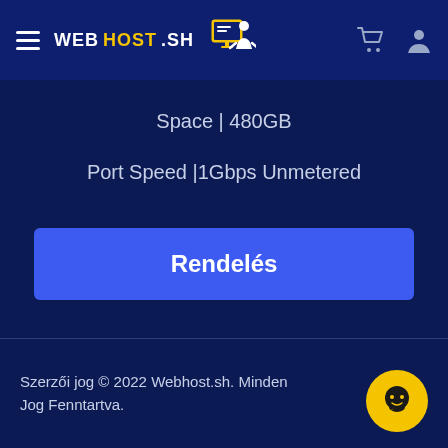WEBHOST.SH
Space | 480GB
Port Speed |1Gbps Unmetered
Rendelés
Szerzői jog © 2022 Webhost.sh. Minden Jog Fenntartva.